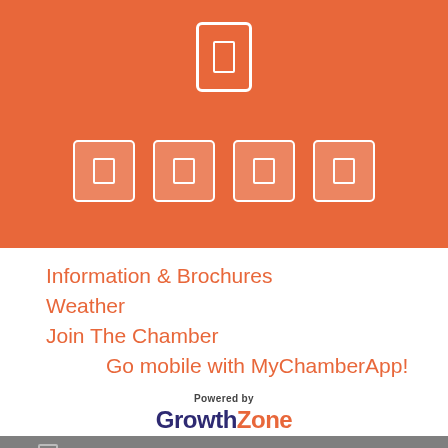[Figure (infographic): Orange background mobile app screenshot showing a phone icon at top center and four small app category icons in a row below it]
Information & Brochures
Weather
Join The Chamber
Go mobile with MyChamberApp!
[Figure (logo): Powered by GrowthZone logo — GrowthZone in bold with Growth in dark purple and Zone in orange]
413-584-1900
info@northamptonchamber.com
Mon-Fri: 9:00 AM-5:00 PM